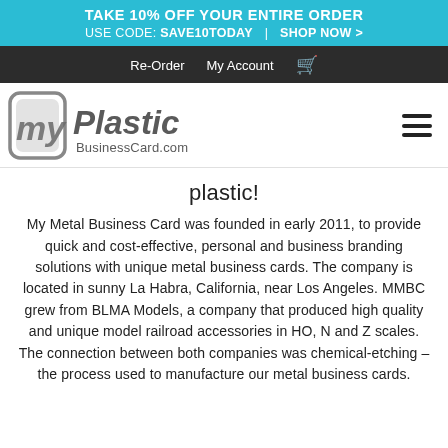TAKE 10% OFF YOUR ENTIRE ORDER USE CODE: SAVE10TODAY | SHOP NOW >
Re-Order  My Account  🛒
[Figure (logo): MyPlastic BusinessCard.com logo with stylized 'My' icon and hamburger menu icon]
plastic!
My Metal Business Card was founded in early 2011, to provide quick and cost-effective, personal and business branding solutions with unique metal business cards. The company is located in sunny La Habra, California, near Los Angeles. MMBC grew from BLMA Models, a company that produced high quality and unique model railroad accessories in HO, N and Z scales. The connection between both companies was chemical-etching – the process used to manufacture our metal business cards.